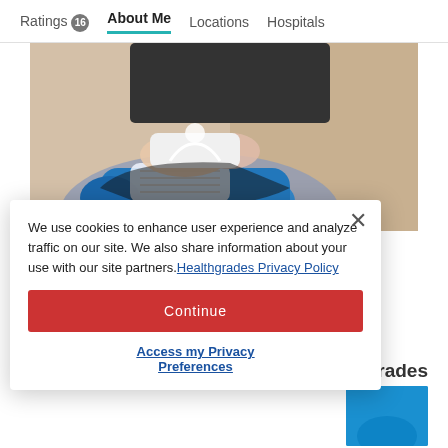Ratings 16   About Me   Locations   Hospitals
[Figure (photo): Close-up photo of a person tying blue sneakers/athletic shoes, with sandy/beige ground in background]
Ankle Pain
We use cookies to enhance user experience and analyze traffic on our site. We also share information about your use with our site partners. Healthgrades Privacy Policy
Continue
Access my Privacy Preferences